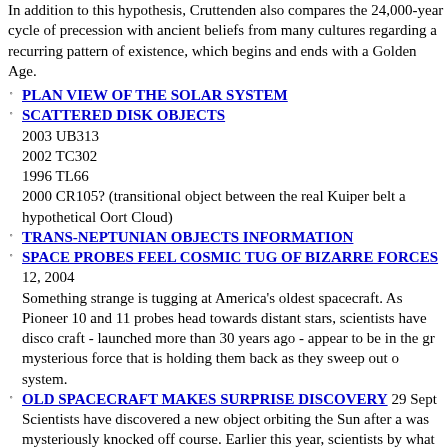In addition to this hypothesis, Cruttenden also compares the 24,000-year cycle of precession with ancient beliefs from many cultures regarding a recurring pattern of existence, which begins and ends with a Golden Age.
PLAN VIEW OF THE SOLAR SYSTEM
SCATTERED DISK OBJECTS
2003 UB313
2002 TC302
1996 TL66
2000 CR105? (transitional object between the real Kuiper belt and the hypothetical Oort Cloud)
TRANS-NEPTUNIAN OBJECTS INFORMATION
SPACE PROBES FEEL COSMIC TUG OF BIZARRE FORCES 12, 2004
Something strange is tugging at America's oldest spacecraft. As Pioneer 10 and 11 probes head towards distant stars, scientists have discovered the craft - launched more than 30 years ago - appear to be in the grip of a mysterious force that is holding them back as they sweep out of our solar system.
OLD SPACECRAFT MAKES SURPRISE DISCOVERY 29 Sept Scientists have discovered a new object orbiting the Sun after a space probe was mysteriously knocked off course. Earlier this year, scientists were baffled by what was described as a mysterious force acting on the probe, sparking speculation that there was something wrong in our understanding of the laws of gravity. Eventually the effect was tracked down to the probe itself, unexpectedly pushing itself in one particular direction May be just processing errors, but not sure?
MYSTERY FORCE TUGS DISTANT PROBES
The puzzle is that Pioneer 10 is slowing more quickly than it should be. It was initially suggested that this might be due to the force from sunlight, or that it was being pulled off course by the gravity of an unseen object.